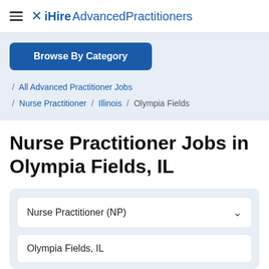☰ iHire AdvancedPractitioners
Browse By Category
/ All Advanced Practitioner Jobs / Nurse Practitioner / Illinois / Olympia Fields
Nurse Practitioner Jobs in Olympia Fields, IL
Nurse Practitioner (NP)
Olympia Fields, IL